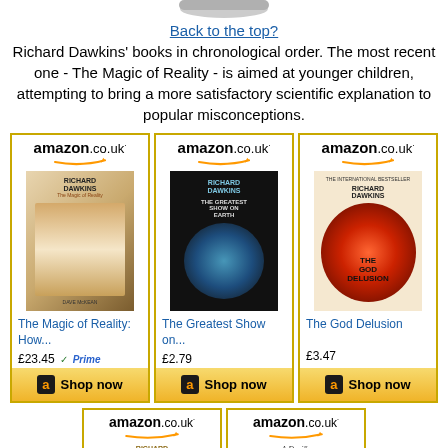[Figure (illustration): Partial image at top of page, appears to be a bowl or plate, cropped]
Back to the top?
Richard Dawkins' books in chronological order. The most recent one - The Magic of Reality - is aimed at younger children, attempting to bring a more satisfactory scientific explanation to popular misconceptions.
[Figure (screenshot): Amazon.co.uk widget showing 'The Magic of Reality: How...' by Richard Dawkins, price £23.45 with Prime badge, Shop now button]
[Figure (screenshot): Amazon.co.uk widget showing 'The Greatest Show on...' by Richard Dawkins, price £2.79, Shop now button]
[Figure (screenshot): Amazon.co.uk widget showing 'The God Delusion' by Richard Dawkins, price £3.47, Shop now button]
[Figure (screenshot): Amazon.co.uk widget showing a Richard Dawkins book (partially visible at bottom)]
[Figure (screenshot): Amazon.co.uk widget showing 'A Devil's Chaplain' (partially visible at bottom)]